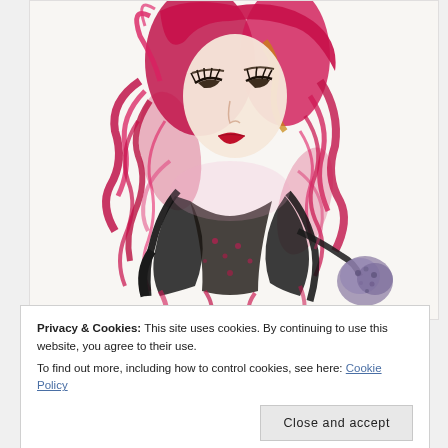[Figure (illustration): Fashion illustration of a woman with flowing crimson/magenta hair and a black garment, holding a small bouquet, rendered in loose expressive brushwork with pink, red, black, and gold tones on a light background.]
Privacy & Cookies: This site uses cookies. By continuing to use this website, you agree to their use.
To find out more, including how to control cookies, see here: Cookie Policy
Close and accept
...there from double trouble in Chic...